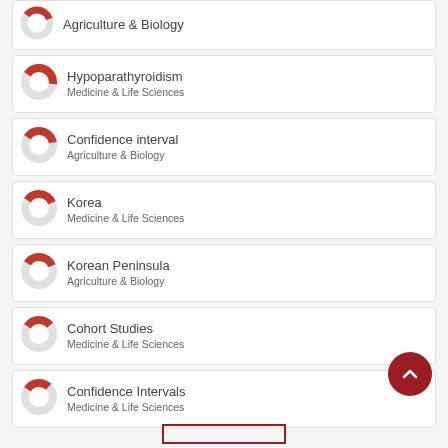Agriculture & Biology
Hypoparathyroidism
Medicine & Life Sciences
Confidence interval
Agriculture & Biology
Korea
Medicine & Life Sciences
Korean Peninsula
Agriculture & Biology
Cohort Studies
Medicine & Life Sciences
Confidence Intervals
Medicine & Life Sciences